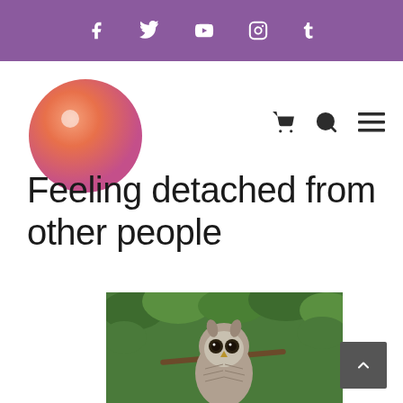Social media navigation bar with icons: Facebook, Twitter, YouTube, Instagram, Tumblr
[Figure (logo): Round gradient orb logo in pink-orange gradient with white highlight]
Feeling detached from other people
[Figure (photo): A barred owl perched on a branch surrounded by green foliage]